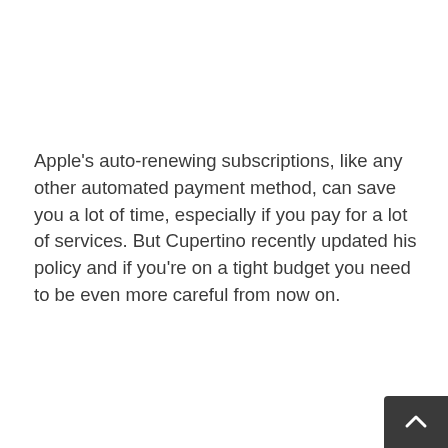Apple's auto-renewing subscriptions, like any other automated payment method, can save you a lot of time, especially if you pay for a lot of services. But Cupertino recently updated his policy and if you're on a tight budget you need to be even more careful from now on.